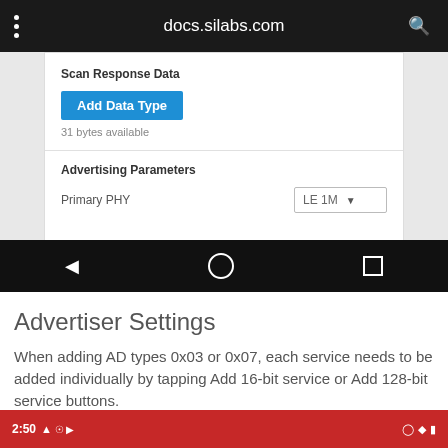docs.silabs.com
[Figure (screenshot): Mobile app screenshot showing 'Scan Response Data' section with 'Add Data Type' blue button, '31 bytes available' text, 'Advertising Parameters' section with 'Primary PHY' field showing 'LE 1M' dropdown, and Android navigation bar at bottom]
Advertiser Settings
When adding AD types 0x03 or 0x07, each service needs to be added individually by tapping Add 16-bit service or Add 128-bit service buttons.
[Figure (screenshot): Bottom portion of another mobile screenshot with red status bar showing time 2:50 and various status icons]